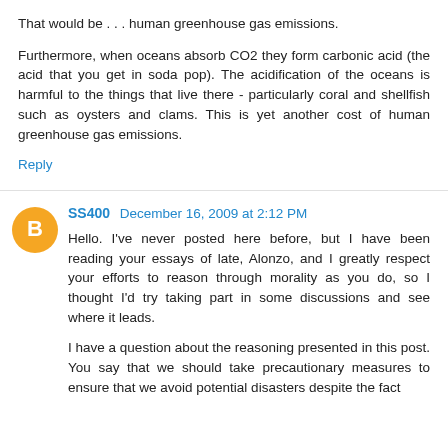That would be . . . human greenhouse gas emissions.
Furthermore, when oceans absorb CO2 they form carbonic acid (the acid that you get in soda pop). The acidification of the oceans is harmful to the things that live there - particularly coral and shellfish such as oysters and clams. This is yet another cost of human greenhouse gas emissions.
Reply
SS400  December 16, 2009 at 2:12 PM
Hello. I've never posted here before, but I have been reading your essays of late, Alonzo, and I greatly respect your efforts to reason through morality as you do, so I thought I'd try taking part in some discussions and see where it leads.
I have a question about the reasoning presented in this post. You say that we should take precautionary measures to ensure that we avoid potential disasters despite the fact